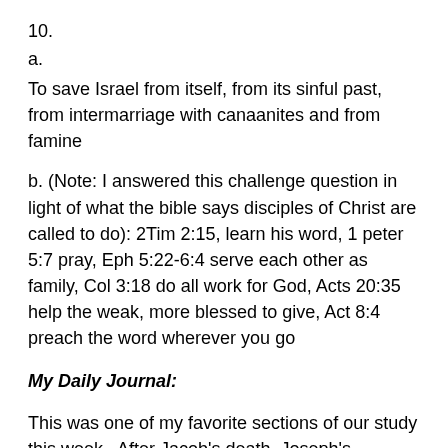10.
a.
To save Israel from itself, from its sinful past, from intermarriage with canaanites and from famine
b. (Note: I answered this challenge question in light of what the bible says disciples of Christ are called to do): 2Tim 2:15, learn his word, 1 peter 5:7 pray, Eph 5:22-6:4 serve each other as family, Col 3:18 do all work for God, Acts 20:35 help the weak, more blessed to give, Act 8:4 preach the word wherever you go
My Daily Journal:
This was one of my favorite sections of our study this week.  After Jacob's death, Joseph's brothers get afraid. They decide to take the approach with their brother that they may not inhibit here. They decidat trilib, the